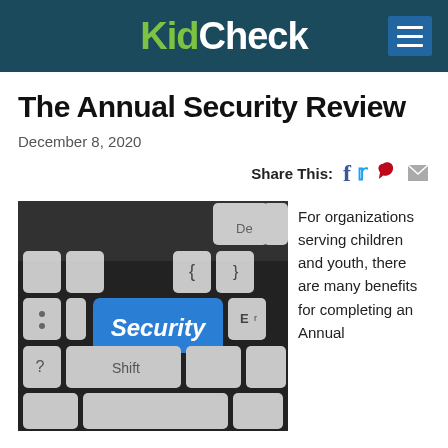KidCheck
The Annual Security Review
December 8, 2020
Share This:
[Figure (photo): Close-up photograph of a computer keyboard with a blue 'Security' key in place of a standard key, with other standard keys including Shift visible]
For organizations serving children and youth, there are many benefits for completing an Annual